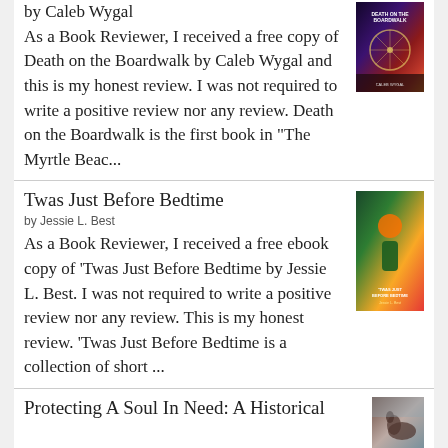As a Book Reviewer, I received a free copy of Death on the Boardwalk by Caleb Wygal and this is my honest review. I was not required to write a positive review nor any review. Death on the Boardwalk is the first book in “The Myrtle Beac...
[Figure (illustration): Book cover of Death on the Boardwalk by Caleb Wygal, dark colors with a ferris wheel]
Twas Just Before Bedtime
by Jessie L. Best
[Figure (illustration): Book cover of Twas Just Before Bedtime by Jessie L. Best, colorful illustration]
As a Book Reviewer, I received a free ebook copy of 'Twas Just Before Bedtime by Jessie L. Best. I was not required to write a positive review nor any review. This is my honest review. 'Twas Just Before Bedtime is a collection of short ...
Protecting A Soul In Need: A Historical
[Figure (illustration): Book cover of Protecting A Soul In Need: A Historical, brown tones with a horse]